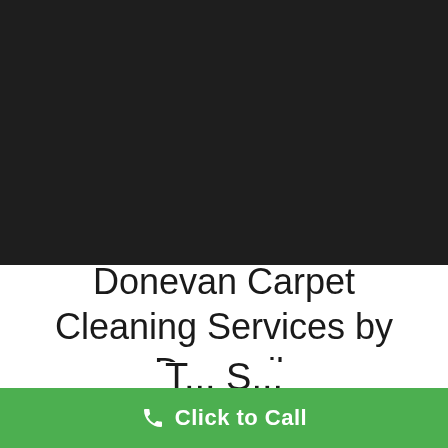[Figure (photo): Dark/black background image section at the top of the page]
Donevan Carpet Cleaning Services by Dynamik
T... S...
Click to Call